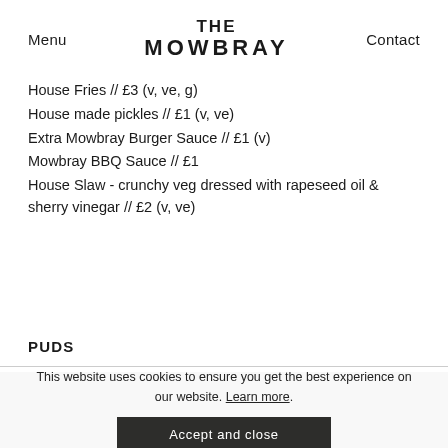Menu | THE MOWBRAY | Contact
House Fries  // £3 (v, ve, g)
House made pickles // £1 (v, ve)
Extra Mowbray Burger Sauce // £1 (v)
Mowbray BBQ Sauce // £1
House Slaw - crunchy veg dressed with rapeseed oil & sherry vinegar // £2 (v, ve)
PUDS
This website uses cookies to ensure you get the best experience on our website. Learn more.